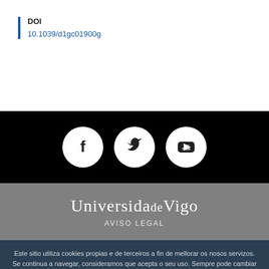DOI
10.1039/d1gc01900g
[Figure (other): Social media icons: Facebook, Twitter, YouTube on black background]
[Figure (logo): Universidade de Vigo logo on grey background with AVISO LEGAL text]
Este sitio utiliza cookies propias e de terceiros a fin de mellorar os nosos servizos. Se continua a navegar, consideramos que acepta o seu uso. Sempre pode cambiar a configuración e obter máis información accedendo á política de cookies.
ACEPTO    POLÍTICA DE COOKIES